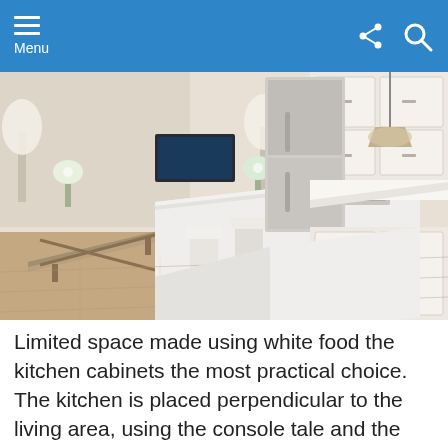Menu
[Figure (photo): A modern open-plan kitchen with a large white island with bar stools, stainless steel refrigerator, white cabinets, and hardwood floors. A console table and living area visible in the background.]
Limited space made using white food the kitchen cabinets the most practical choice. The kitchen is placed perpendicular to the living area, using the console tale and the sofa top separate the two spaces workout completely blocking it from one another.